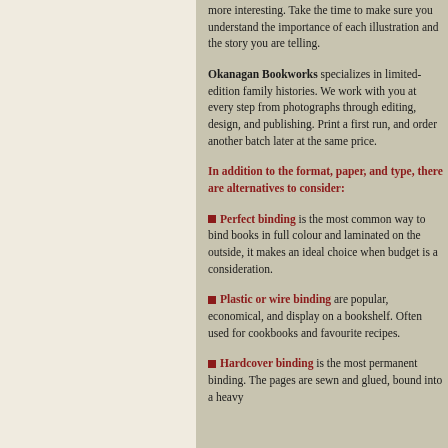more interesting. Take the time to make sure you understand the importance of each illustration and the story you are telling.
Okanagan Bookworks specializes in limited-edition family histories. We work with you at every step from photographs through editing, design, and publishing. Print a first run, and order another batch later at the same price.
In addition to the format, paper, and type, there are alternatives to consider:
Perfect binding is the most common way to bind books in full colour and laminated on the outside, it makes an ideal choice when budget is a consideration.
Plastic or wire binding are popular, economical, and display on a bookshelf. Often used for cookbooks and favourite recipes.
Hardcover binding is the most permanent binding. The pages are sewn and glued, bound into a heavy...